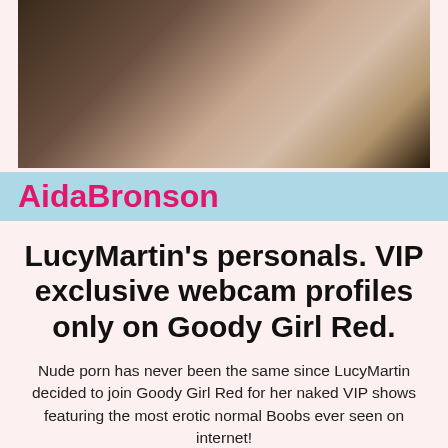[Figure (photo): Close-up photo of a tattooed woman with blonde hair, wearing a white strap top and necklace, posed in a dark background setting.]
AidaBronson
LucyMartin’s personals. VIP exclusive webcam profiles only on Goody Girl Red.
Nude porn has never been the same since LucyMartin decided to join Goody Girl Red for her naked VIP shows featuring the most erotic normal Boobs ever seen on internet!